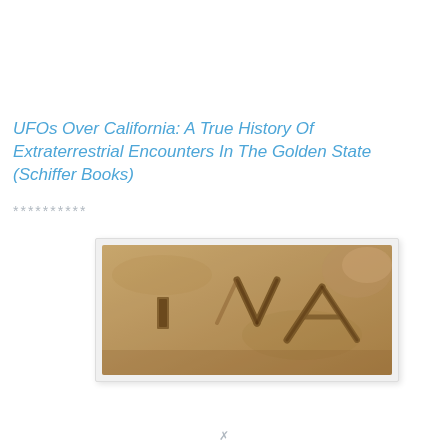UFOs Over California: A True History Of Extraterrestrial Encounters In The Golden State (Schiffer Books)
**********
[Figure (photo): Close-up photo of carved or etched angular symbols/marks on a sandy or stone surface, showing geometric line engravings.]
x